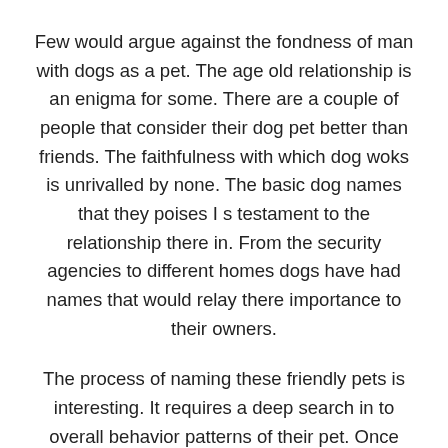Few would argue against the fondness of man with dogs as a pet. The age old relationship is an enigma for some. There are a couple of people that consider their dog pet better than friends. The faithfulness with which dog woks is unrivalled by none. The basic dog names that they poises I s testament to the relationship there in. From the security agencies to different homes dogs have had names that would relay there importance to their owners.
The process of naming these friendly pets is interesting. It requires a deep search in to overall behavior patterns of their pet. Once that is established, searching for a corresponding dog names can be a walk in the pack! This means you have to comprehend